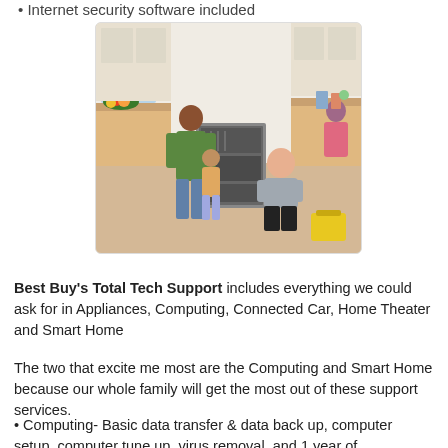• Internet security software included
[Figure (photo): A technician kneeling on the kitchen floor working on a dishwasher while a mother and child stand nearby watching; another person visible in the background at a kitchen counter.]
Best Buy's Total Tech Support includes everything we could ask for in Appliances, Computing, Connected Car, Home Theater and Smart Home
The two that excite me most are the Computing and Smart Home because our whole family will get the most out of these support services.
• Computing- Basic data transfer & data back up, computer setup, computer tune up, virus removal, and 1 year of